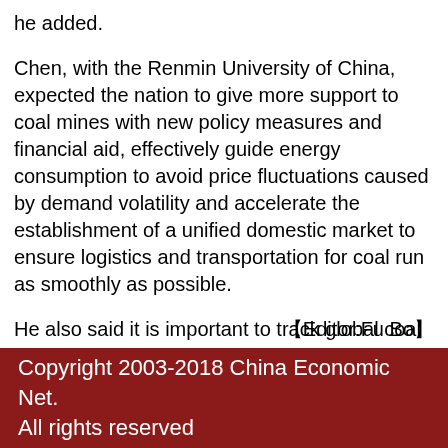he added.
Chen, with the Renmin University of China, expected the nation to give more support to coal mines with new policy measures and financial aid, effectively guide energy consumption to avoid price fluctuations caused by demand volatility and accelerate the establishment of a unified domestic market to ensure logistics and transportation for coal run as smoothly as possible.
He also said it is important to track global coal market movements, strengthen coal storage capacity and enhance foreign trade policies to reduce the costs of importing coal.
【Editor:Fu Bo】
Copyright 2003-2018 China Economic Net. All rights reserved